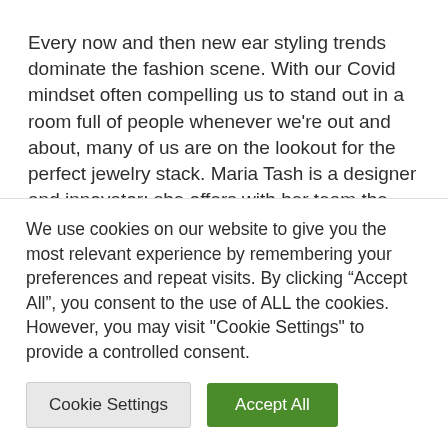Every now and then new ear styling trends dominate the fashion scene. With our Covid mindset often compelling us to stand out in a room full of people whenever we're out and about, many of us are on the lookout for the perfect jewelry stack. Maria Tash is a designer and innovator; she offers with her team the highest qualities of services and expertises in the curation
We use cookies on our website to give you the most relevant experience by remembering your preferences and repeat visits. By clicking "Accept All", you consent to the use of ALL the cookies. However, you may visit "Cookie Settings" to provide a controlled consent.